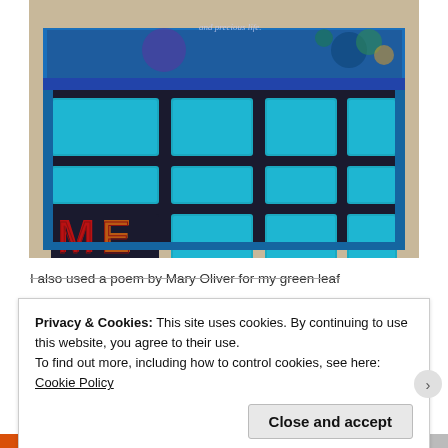[Figure (photo): A teal/turquoise fabric bag with a grid of fuzzy square patches on the front, with the letters 'ME' appliquéd in colorful fabric on the lower left. The top flap is open showing a floral blue fabric lining with text 'and precious life'.]
I also used a poem by Mary Oliver for my green leaf
Privacy & Cookies: This site uses cookies. By continuing to use this website, you agree to their use.
To find out more, including how to control cookies, see here: Cookie Policy
Close and accept